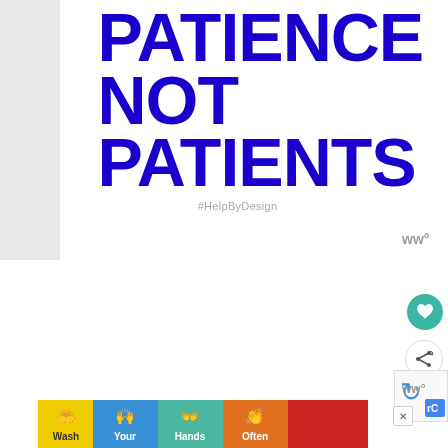[Figure (illustration): Bold typographic poster with large blue text reading 'PATIENCE NOT PATIENTS' and hashtag #HelpByDesign in gray below]
#HelpByDesign
[Figure (logo): Wix logo (ww° style) in gray on right side, appearing twice]
[Figure (illustration): Teal circular heart/like button icon on right panel]
[Figure (illustration): Share button icon on right panel]
[Figure (illustration): reCAPTCHA robot icon in bottom right corner]
[Figure (illustration): Bottom advertisement banner showing 'Wash Your Hands Often' with colorful hand-washing emoji icons on yellow, blue, teal, orange, and red backgrounds]